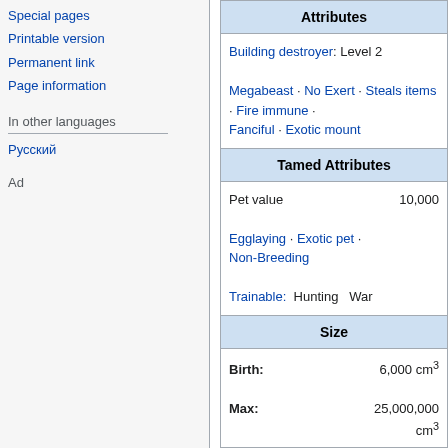Special pages
Printable version
Permanent link
Page information
In other languages
Русский
Ad
| Attributes |
| --- |
| Building destroyer: Level 2
Megabeast · No Exert · Steals items · Fire immune · Fanciful · Exotic mount |
| Tamed Attributes |
| Pet value	10,000
Egglaying · Exotic pet · Non-Breeding
Trainable: Hunting War |
| Size |
| Birth:	6,000 cm³
Max:	25,000,000 cm³ |
| Food products |